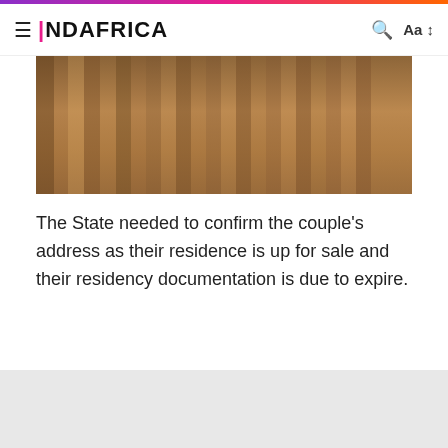INDAFRICA
[Figure (photo): Interior corridor framed by wooden structural beams receding into the distance, showing construction or timber architecture perspective.]
The State needed to confirm the couple's address as their residence is up for sale and their residency documentation is due to expire.